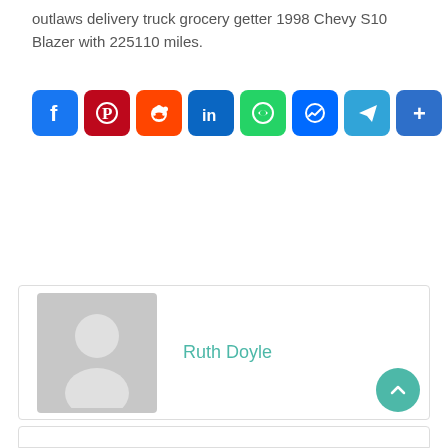outlaws delivery truck grocery getter 1998 Chevy S10 Blazer with 225110 miles.
[Figure (infographic): Row of social media share buttons: Facebook, Pinterest, Reddit, LinkedIn, WhatsApp, Messenger, Telegram, Share/More]
[Figure (infographic): Author card with grey avatar placeholder image and name Ruth Doyle in teal text. Teal scroll-to-top button at bottom right.]
Ruth Doyle